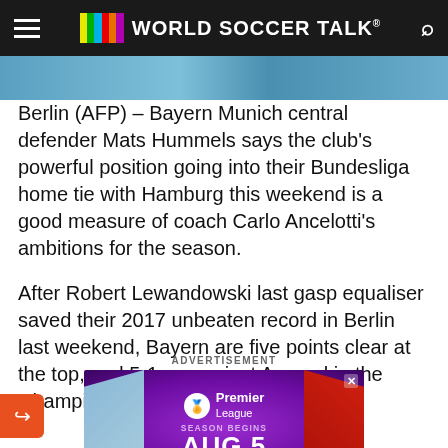World Soccer Talk
[Figure (screenshot): Blue-toned image strip showing soccer players, cropped at top of article]
Berlin (AFP) – Bayern Munich central defender Mats Hummels says the club's powerful position going into their Bundesliga home tie with Hamburg this weekend is a good measure of coach Carlo Ancelotti's ambitions for the season.
After Robert Lewandowski last gasp equaliser saved their 2017 unbeaten record in Berlin last weekend, Bayern are five points clear at the top, and 5-1 up against Arsenal in the Champions League Last-16.
ADVERTISEMENT
[Figure (screenshot): Premier League advertisement banner showing two soccer players and text SEASON BEGINS AUG 5]